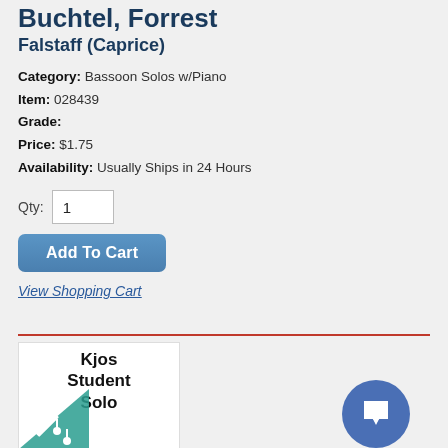Buchtel, Forrest
Falstaff (Caprice)
Category: Bassoon Solos w/Piano
Item: 028439
Grade:
Price: $1.75
Availability: Usually Ships in 24 Hours
Qty: 1
Add To Cart
View Shopping Cart
[Figure (illustration): Book cover showing Kjos Student Solo text with teal musical note graphics]
[Figure (logo): Blue circular chat/bookmark icon button in bottom right]